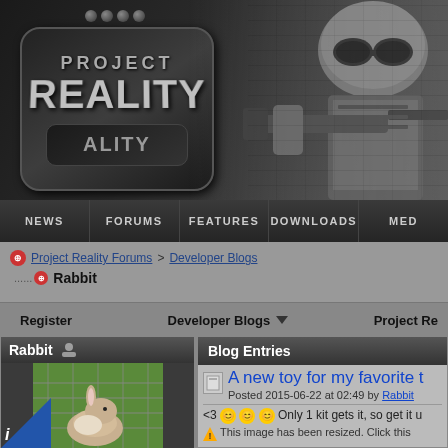[Figure (screenshot): Project Reality website header banner with dog tag logo and soldier]
NEWS | FORUMS | FEATURES | DOWNLOADS | MED
Project Reality Forums > Developer Blogs > Rabbit
Register    Developer Blogs ▼    Project Re
Rabbit
Blog Entries
A new toy for my favorite t
Posted 2015-06-22 at 02:49 by Rabbit
<3 😊😊😊 Only 1 kit gets it, so get it u
This image has been resized. Click this